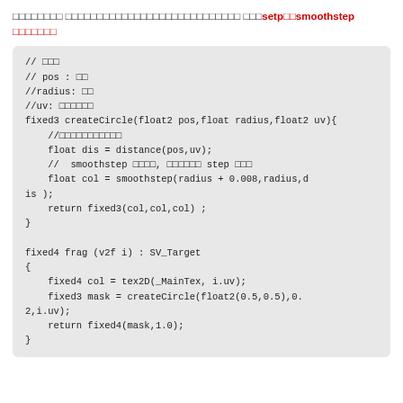サンプルコード smoothstepを使ってcreateCircle関数を書き直してsetp→smoothstep にしました
// 引数
// pos : 位置
//radius: 半径
//uv: テクスチャ座標
fixed3 createCircle(float2 pos,float radius,float2 uv){
    //円の中心からの距離を求める
    float dis = distance(pos,uv);
    //  smoothstep を使うと, アンチエイリアスが step より綺麗
    float col = smoothstep(radius + 0.008,radius,dis );
    return fixed3(col,col,col) ;
}

fixed4 frag (v2f i) : SV_Target
{
    fixed4 col = tex2D(_MainTex, i.uv);
    fixed3 mask = createCircle(float2(0.5,0.5),0.2,i.uv);
    return fixed4(mask,1.0);
}